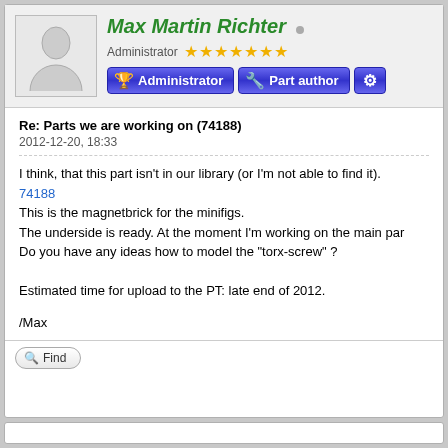Max Martin Richter
Administrator ★★★★★★★
Administrator | Part author
Re: Parts we are working on (74188)
2012-12-20, 18:33
I think, that this part isn't in our library (or I'm not able to find it).
74188
This is the magnetbrick for the minifigs.
The underside is ready. At the moment I'm working on the main par
Do you have any ideas how to model the "torx-screw" ?

Estimated time for upload to the PT: late end of 2012.

/Max